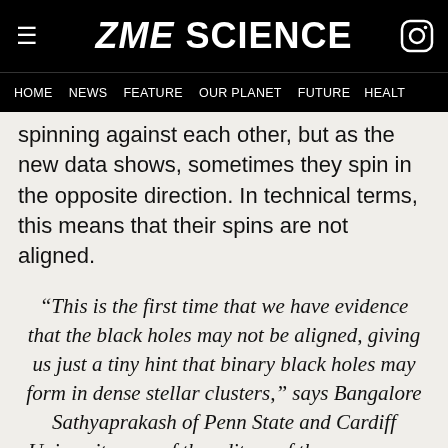ZME SCIENCE
HOME  NEWS  FEATURE  OUR PLANET  FUTURE  HEALT
spinning against each other, but as the new data shows, sometimes they spin in the opposite direction. In technical terms, this means that their spins are not aligned.
“This is the first time that we have evidence that the black holes may not be aligned, giving us just a tiny hint that binary black holes may form in dense stellar clusters,” says Bangalore Sathyaprakash of Penn State and Cardiff University, one of the editors of the new paper, which is authored by the entire